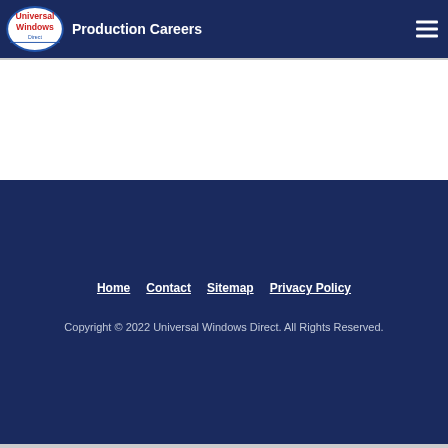Universal Windows Direct — Production Careers
Home  Contact  Sitemap  Privacy Policy
Copyright © 2022 Universal Windows Direct. All Rights Reserved.